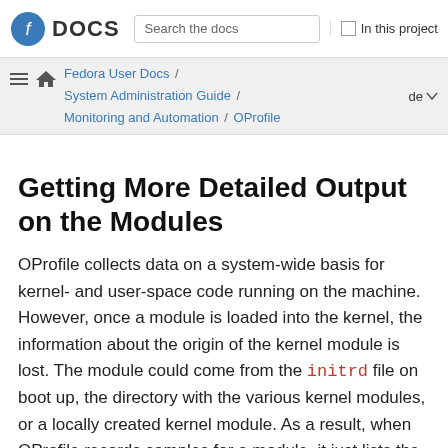Fedora DOCS | Search the docs | In this project
Fedora User Docs / System Administration Guide / Monitoring and Automation / OProfile | de
Getting More Detailed Output on the Modules
OProfile collects data on a system-wide basis for kernel- and user-space code running on the machine. However, once a module is loaded into the kernel, the information about the origin of the kernel module is lost. The module could come from the initrd file on boot up, the directory with the various kernel modules, or a locally created kernel module. As a result, when OProfile records samples for a module, it just lists the samples for the